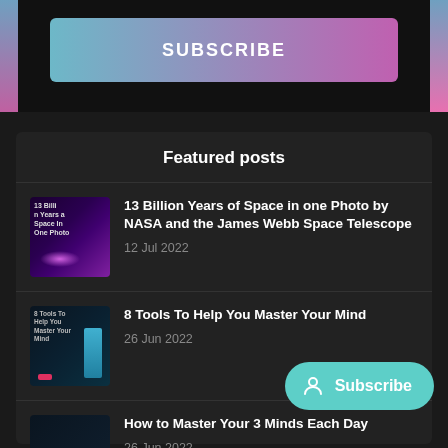[Figure (screenshot): Subscribe button with gradient background (teal to pink)]
Featured posts
13 Billion Years of Space in one Photo by NASA and the James Webb Space Telescope
12 Jul 2022
8 Tools To Help You Master Your Mind
26 Jun 2022
How to Master Your 3 Minds Each Day
26 Jun 2022